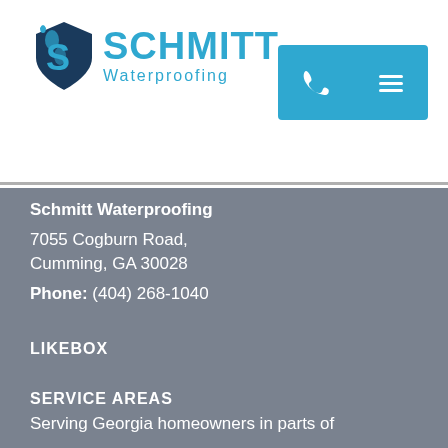[Figure (logo): Schmitt Waterproofing logo with blue water drop shield icon and blue text reading SCHMITT Waterproofing]
[Figure (other): Teal navigation buttons: phone icon and hamburger menu icon]
Schmitt Waterproofing
7055 Cogburn Road,
Cumming, GA 30028
Phone: (404) 268-1040
LIKEBOX
SERVICE AREAS
Serving Georgia homeowners in parts of